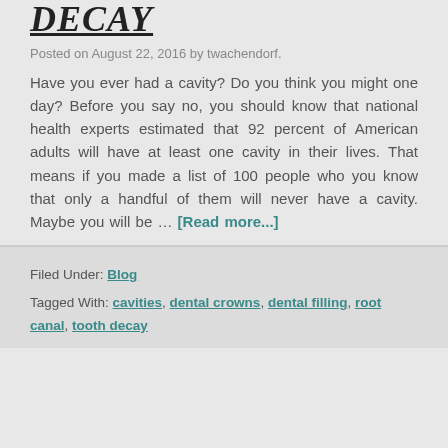DECAY
Posted on August 22, 2016 by twachendorf.
Have you ever had a cavity? Do you think you might one day? Before you say no, you should know that national health experts estimated that 92 percent of American adults will have at least one cavity in their lives. That means if you made a list of 100 people who you know that only a handful of them will never have a cavity. Maybe you will be … [Read more...]
Filed Under: Blog
Tagged With: cavities, dental crowns, dental filling, root canal, tooth decay